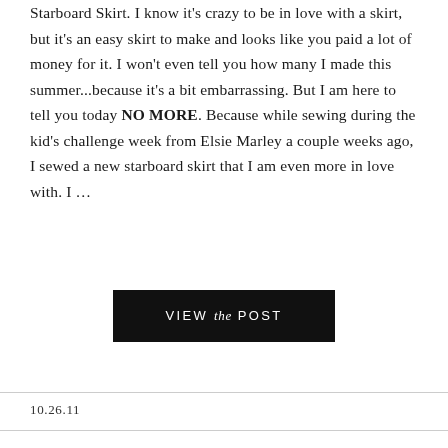Starboard Skirt. I know it's crazy to be in love with a skirt, but it's an easy skirt to make and looks like you paid a lot of money for it. I won't even tell you how many I made this summer...because it's a bit embarrassing. But I am here to tell you today NO MORE. Because while sewing during the kid's challenge week from Elsie Marley a couple weeks ago, I sewed a new starboard skirt that I am even more in love with. I ...
[Figure (other): Black rectangular button with white text reading 'VIEW the POST' where 'the' is in italic]
10.26.11